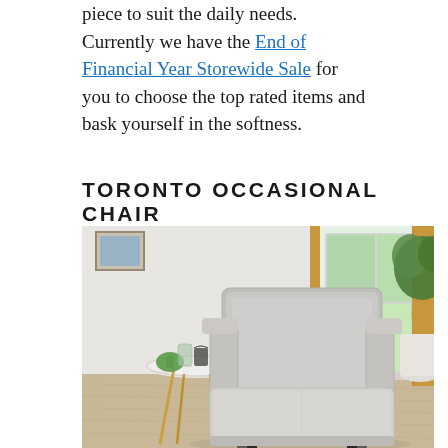piece to suit the daily needs. Currently we have the End of Financial Year Storewide Sale for you to choose the top rated items and bask yourself in the softness.
TORONTO OCCASIONAL CHAIR
[Figure (photo): A light grey upholstered occasional chair with clean lines and dark wooden legs, styled in a bright living room setting with a small round marble-top side table, green houseplants, amber curtains, and a large window with garden view.]